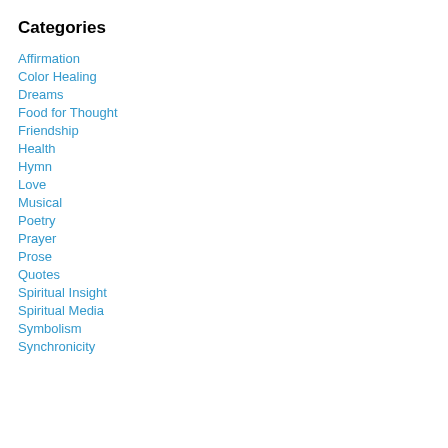Categories
Affirmation
Color Healing
Dreams
Food for Thought
Friendship
Health
Hymn
Love
Musical
Poetry
Prayer
Prose
Quotes
Spiritual Insight
Spiritual Media
Symbolism
Synchronicity